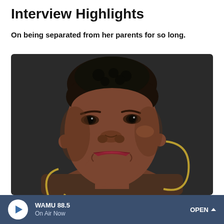Interview Highlights
On being separated from her parents for so long.
[Figure (photo): Close-up portrait of a young Black woman with short natural hair, wearing gold hoop earrings and red lipstick, against a dark background. Expression is serious and direct.]
WAMU 88.5 On Air Now OPEN ^